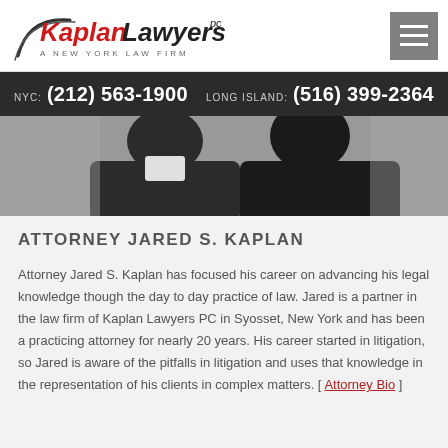Kaplan Lawyers PC — A New York Law Firm
NYC: (212) 563-1900   LONG ISLAND: (516) 399-2364
[Figure (photo): Photo of attorney in dark suit, partially visible from shoulders up, cropped]
ATTORNEY JARED S. KAPLAN
Attorney Jared S. Kaplan has focused his career on advancing his legal knowledge though the day to day practice of law. Jared is a partner in the law firm of Kaplan Lawyers PC in Syosset, New York and has been a practicing attorney for nearly 20 years. His career started in litigation, so Jared is aware of the pitfalls in litigation and uses that knowledge in the representation of his clients in complex matters. [ Attorney Bio ]